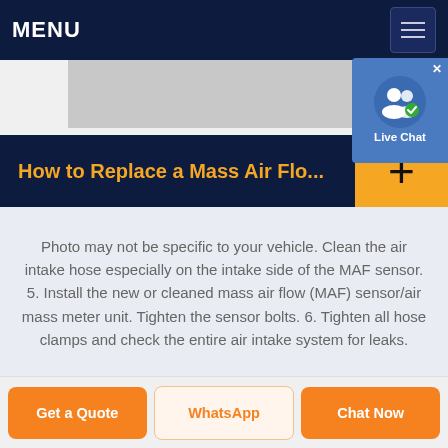MENU
[Figure (screenshot): Live Chat widget with user icon on blue background]
How to Replace a Mass Air Flo...
Photo may not be specific to your vehicle. Clean the air intake hose especially on the intake side of the MAF sensor. 5. Install the new or cleaned mass air flow (MAF) sensor/air mass meter unit. Tighten the sensor bolts. 6. Tighten all hose clamps and check the entire air intake system for leaks.
Get a Quote | WhatsApp | Chat Now